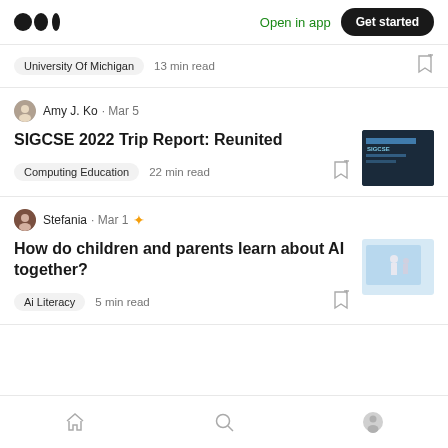Medium logo | Open in app | Get started
University Of Michigan · 13 min read
Amy J. Ko · Mar 5
SIGCSE 2022 Trip Report: Reunited
Computing Education · 22 min read
[Figure (photo): SIGCSE conference banner/sign photo]
Stefania · Mar 1
How do children and parents learn about AI together?
Ai Literacy · 5 min read
[Figure (illustration): Illustration of figures and AI/technology concept]
Home | Search | Profile